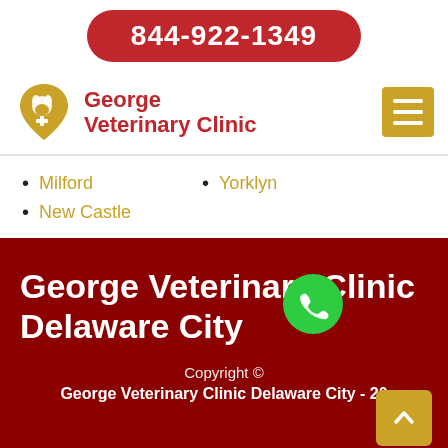844-922-1349
[Figure (logo): George Veterinary Clinic logo with gold animal silhouette in heart shape and red text]
Milford
Yorklyn
New Castle
George Veterinary Clinic Delaware City
Copyright ©
George Veterinary Clinic Delaware City - 20